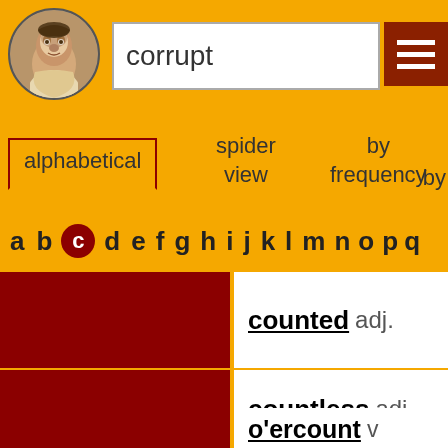[Figure (illustration): Shakespeare portrait in circular frame]
corrupt
[Figure (other): Hamburger menu button (dark red with 3 white lines)]
alphabetical
spider view
by frequency
by
a b c d e f g h i j k l m n o p q
counted adj.
INTENSITY
countless adj.
o'ercount v